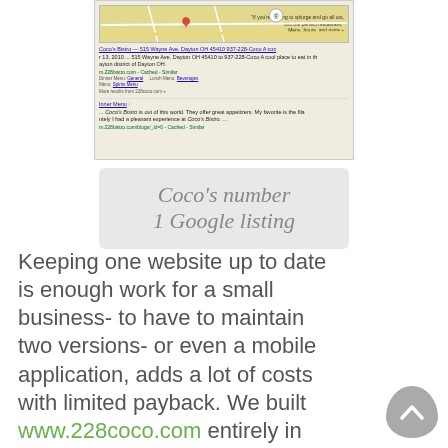[Figure (screenshot): Google search results screenshot showing Coco's Bistro listing with map, address at 515 Wayne Ave, Dayton OH 45410, phone 937-228-Coco, menu links, and a review snippet.]
Coco's number 1 Google listing
Keeping one website up to date is enough work for a small business- to have to maintain two versions- or even a mobile application, adds a lot of costs with limited payback. We built www.228coco.com entirely in WordPress and it's totally mobile aware and has an incredible Google listing.